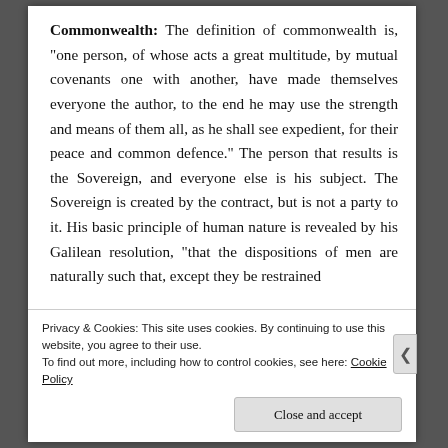Commonwealth: The definition of commonwealth is, "one person, of whose acts a great multitude, by mutual covenants one with another, have made themselves everyone the author, to the end he may use the strength and means of them all, as he shall see expedient, for their peace and common defence." The person that results is the Sovereign, and everyone else is his subject. The Sovereign is created by the contract, but is not a party to it. His basic principle of human nature is revealed by his Galilean resolution, "that the dispositions of men are naturally such that, except they be restrained
Privacy & Cookies: This site uses cookies. By continuing to use this website, you agree to their use.
To find out more, including how to control cookies, see here: Cookie Policy